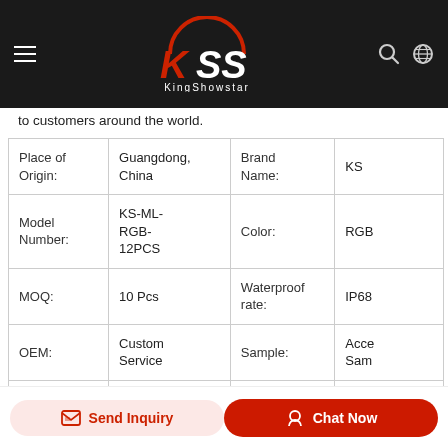KingShowstar (KSS) - Navigation header with logo, search and language icons
to customers around the world.
|  |  |  |  |
| --- | --- | --- | --- |
| Place of Origin: | Guangdong, China | Brand Name: | KS |
| Model Number: | KS-ML-RGB-12PCS | Color: | RGB |
| MOQ: | 10 Pcs | Waterproof rate: | IP68 |
| OEM: | Custom Service | Sample: | Accept Sample |
| Car Make: | Universal | Shipping: | Customer Requirement |
| PAYMENT: | T Trade Assurance | Voltage: | 12V |
Send Inquiry | Chat Now